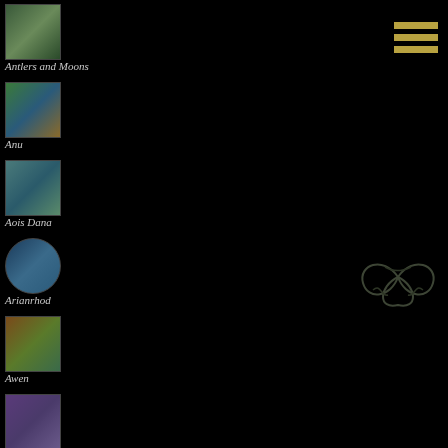[Figure (illustration): Small square thumbnail artwork for Antlers and Moons]
Antlers and Moons
[Figure (illustration): Small square thumbnail artwork for Anu]
Anu
[Figure (illustration): Small square thumbnail artwork for Aois Dana]
Aois Dana
[Figure (illustration): Small square thumbnail artwork for Arianrhod]
Arianrhod
[Figure (illustration): Small square thumbnail artwork for Awen]
Awen
[Figure (illustration): Small square thumbnail artwork for BARD SONG]
BARD SONG
[Figure (illustration): Small square thumbnail artwork partially visible at bottom]
[Figure (illustration): Celtic triquetra knot decoration on right side]
[Figure (illustration): Hamburger menu icon with three gold horizontal bars]